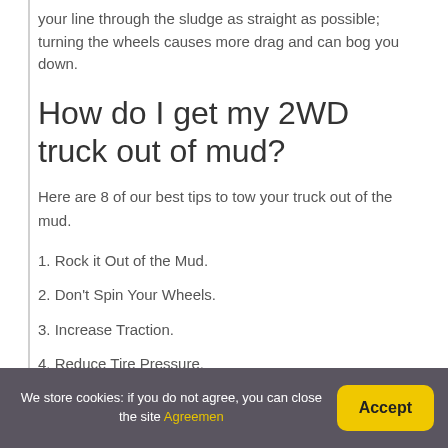your line through the sludge as straight as possible; turning the wheels causes more drag and can bog you down.
How do I get my 2WD truck out of mud?
Here are 8 of our best tips to tow your truck out of the mud.
1. Rock it Out of the Mud.
2. Don't Spin Your Wheels.
3. Increase Traction.
4. Reduce Tire Pressure.
We store cookies: if you do not agree, you can close the site Agreement